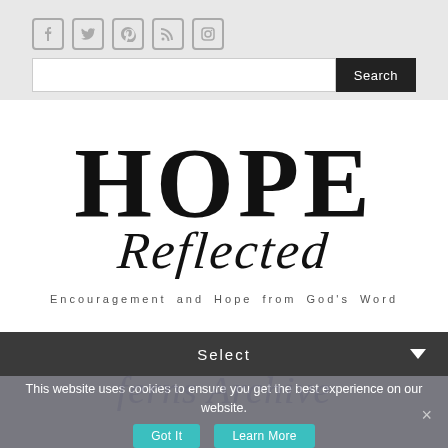[Figure (screenshot): Social media icons: Facebook, Twitter, Pinterest, RSS, Instagram — grey outlined square icons]
[Figure (screenshot): Search bar with text input field and dark Search button]
HOPE Reflected
Encouragement and Hope from God's Word
Select
This website uses cookies to ensure you get the best experience on our website.
Got It   Learn More